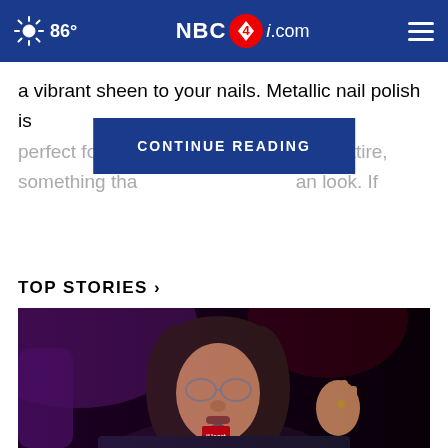86° NBC4i.com
a vibrant sheen to your nails. Metallic nail polish is perfect for bot[...] ttime attire, something tha[...] an look. If
CONTINUE READING
TOP STORIES ›
[Figure (photo): A person with long dark hair and round glasses speaking into a microphone branded with iHeart logo, photographed against a dark background with purple stage lighting.]